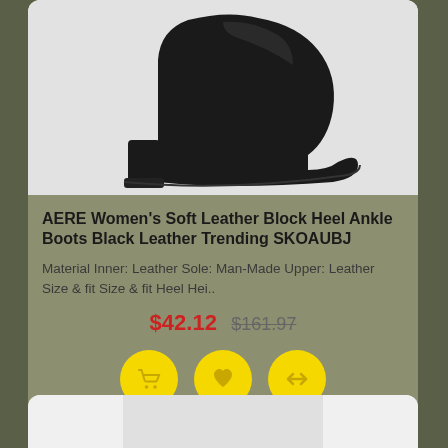[Figure (photo): Black leather block heel ankle boot on light gray background, side/front view showing chunky heel]
AERE Women's Soft Leather Block Heel Ankle Boots Black Leather Trending SKOAUBJ
Material Inner: Leather Sole: Man-Made Upper: Leather Size & fit Size & fit Heel Hei..
$42.12  $161.97
[Figure (photo): Partial view of second product card with light gray image area, bottom of page]